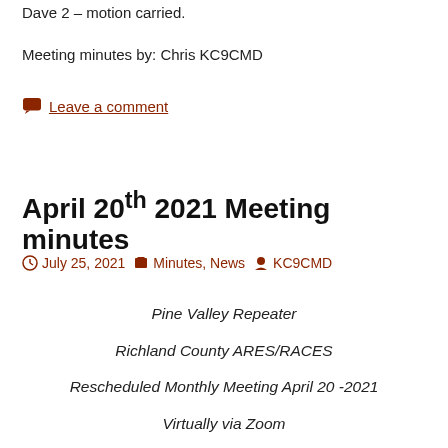Dave 2 – motion carried.
Meeting minutes by: Chris KC9CMD
Leave a comment
April 20th 2021 Meeting minutes
July 25, 2021   Minutes, News   KC9CMD
Pine Valley Repeater
Richland County ARES/RACES
Rescheduled Monthly Meeting April 20 -2021
Virtually via Zoom